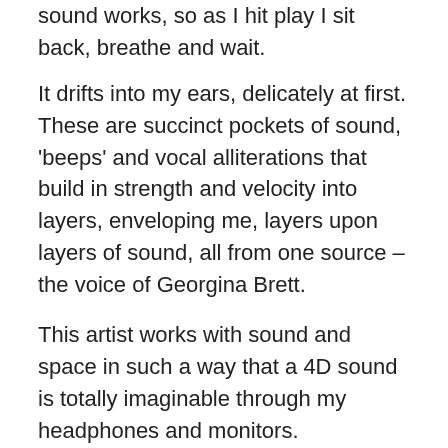sound works, so as I hit play I sit back, breathe and wait.
It drifts into my ears, delicately at first. These are succinct pockets of sound, 'beeps' and vocal alliterations that build in strength and velocity into layers, enveloping me, layers upon layers of sound, all from one source – the voice of Georgina Brett.
This artist works with sound and space in such a way that a 4D sound is totally imaginable through my headphones and monitors.
Georgina is based in London and makes music that involves using her voice and effects pedals, creating,
“instant choirs of sound often in an hypnotic style,”
…which can further be described as an avant- garde approach in that it can take on both a minimalist and